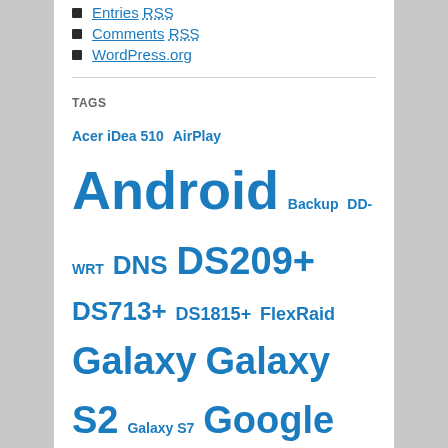Entries RSS
Comments RSS
WordPress.org
TAGS
Acer iDea 510 AirPlay Android Backup DD-WRT DNS DS209+ DS713+ DS1815+ FlexRaid Galaxy Galaxy S2 Galaxy S7 Google Assistant Google Home HTPC Kies MCE MSBuild MySQL Nabi 2 Nvidia TV Shield One Plus One OpenHab Outlook Philips Hue Plex RAID Raspberry PI Remote Desktop Root Access Samsung